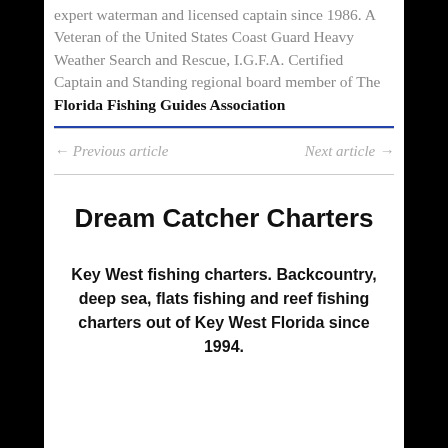expert waterman and licensed captain since 1986. A Veteran of the United States Coast Guard Heavy Weather Search and Rescue, I.G.F.A. Certified Captain and Standing regional board member of The Florida Fishing Guides Association
← Previous article
Next article →
Dream Catcher Charters
Key West fishing charters. Backcountry, deep sea, flats fishing and reef fishing charters out of Key West Florida since 1994.